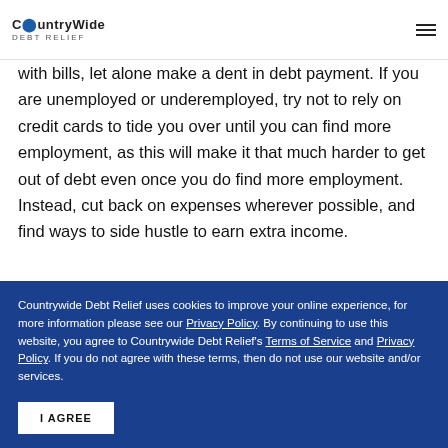CountryWide Debt Relief
with bills, let alone make a dent in debt payment. If you are unemployed or underemployed, try not to rely on credit cards to tide you over until you can find more employment, as this will make it that much harder to get out of debt even once you do find more employment. Instead, cut back on expenses wherever possible, and find ways to side hustle to earn extra income.
7. They only make minimum
Countrywide Debt Relief uses cookies to improve your online experience, for more information please see our Privacy Policy. By continuing to use this website, you agree to Countrywide Debt Relief's Terms of Service and Privacy Policy. If you do not agree with these terms, then do not use our website and/or services.